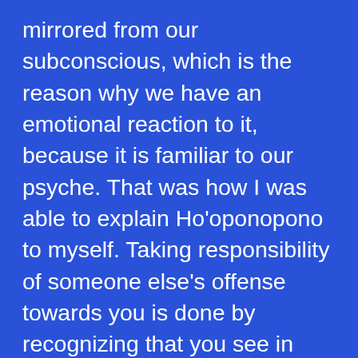mirrored from our subconscious, which is the reason why we have an emotional reaction to it, because it is familiar to our psyche. That was how I was able to explain Ho'oponopono to myself. Taking responsibility of someone else's offense towards you is done by recognizing that you see in him, that which you hate in yourself and you look within and heal that part of you so that his offense ceases to bother you any longer.